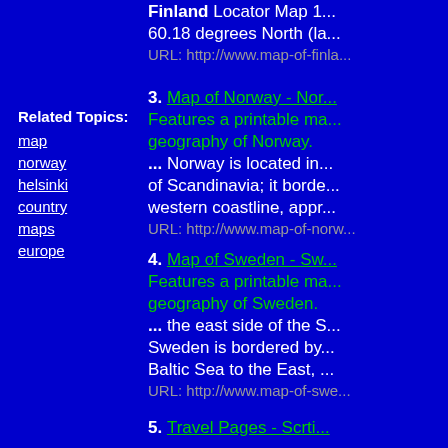Finland Locator Map ... 60.18 degrees North (la
URL: http://www.map-of-finla...
Related Topics:
map
norway
helsinki
country
maps
europe
3. Map of Norway - Nor... Features a printable ma... geography of Norway. ... Norway is located in... of Scandinavia; it borde... western coastline, appr...
URL: http://www.map-of-norw...
4. Map of Sweden - Sw... Features a printable ma... geography of Sweden. ... the east side of the S... Sweden is bordered by... Baltic Sea to the East,..  
URL: http://www.map-of-swe...
5. Travel Pages - Scrti...